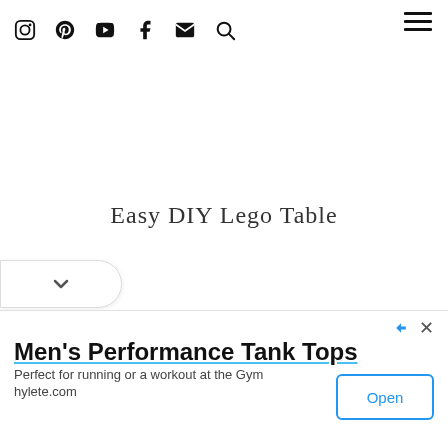Nav icons: Instagram, Pinterest, YouTube, Facebook, Mail, Search; Hamburger menu
Easy DIY Lego Table
[Figure (other): Dropdown chevron tab on left side]
Men's Performance Tank Tops
Perfect for running or a workout at the Gym
hylete.com